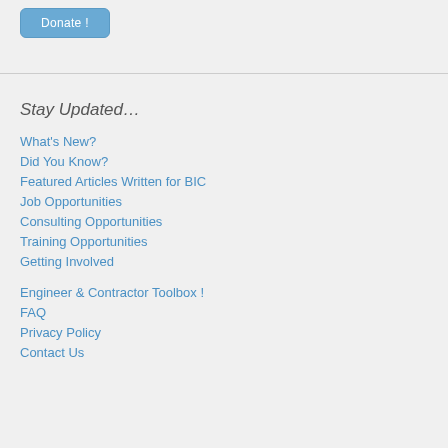[Figure (other): Donate! button — a rounded rectangle button with blue background and white text]
Stay Updated…
What's New?
Did You Know?
Featured Articles Written for BIC
Job Opportunities
Consulting Opportunities
Training Opportunities
Getting Involved
Engineer & Contractor Toolbox !
FAQ
Privacy Policy
Contact Us